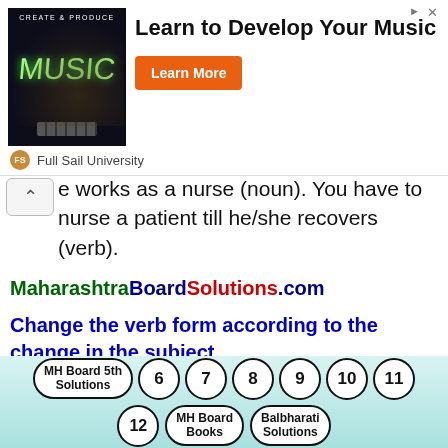[Figure (screenshot): Advertisement banner for Full Sail University: Learn to Develop Your Music, with Learn More button]
e works as a nurse (noun). You have to nurse a patient till he/she recovers (verb).
MaharashtraBoardSolutions.com
Change the verb form according to the change in the subject.
I don't know: Change 'I' to 'She' …………
My father knows: Change 'My father' to 'We' ………..
MH Board 5th Solutions | 6 | 7 | 8 | 9 | 10 | 11 | 12 | MH Board Books | Balbharati Solutions